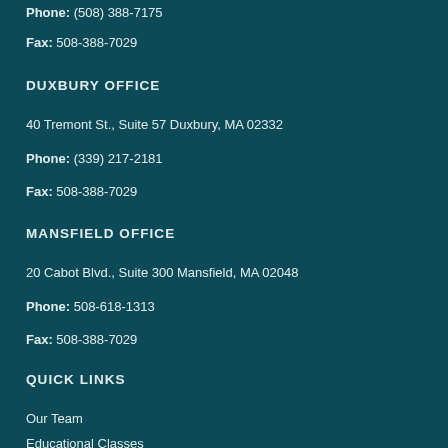Phone: (508) 388-7175
Fax: 508-388-7029
DUXBURY OFFICE
40 Tremont St., Suite 57 Duxbury, MA 02332
Phone: (339) 217-2181
Fax: 508-388-7029
MANSFIELD OFFICE
20 Cabot Blvd., Suite 300 Mansfield, MA 02048
Phone: 508-618-1313
Fax: 508-388-7029
QUICK LINKS
Our Team
Educational Classes